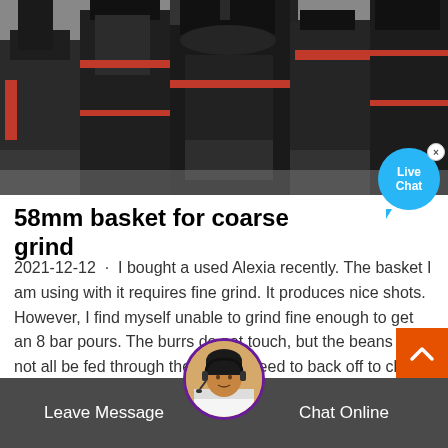[Figure (photo): Industrial heavy machinery (crushers/grinders) in a factory warehouse setting. Large dark metal machines with red accent parts on concrete floor.]
58mm basket for coarse grind
2021-12-12 · I bought a used Alexia recently. The basket I am using with it requires fine grind. It produces nice shots. However, I find myself unable to grind fine enough to get an 8 bar pours. The burrs do not touch, but the beans will not all be fed through the burrs. I need to back off to clear the slightly...